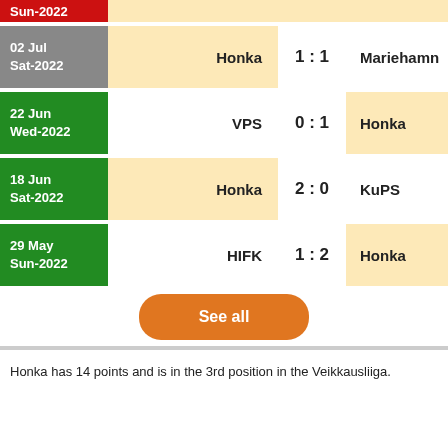Sun-2022 (partial, top-clipped red date box)
02 Jul Sat-2022 | Honka 1:1 Mariehamn
22 Jun Wed-2022 | VPS 0:1 Honka
18 Jun Sat-2022 | Honka 2:0 KuPS
29 May Sun-2022 | HIFK 1:2 Honka
See all
Honka has 14 points and is in the 3rd position in the Veikkausliiga.